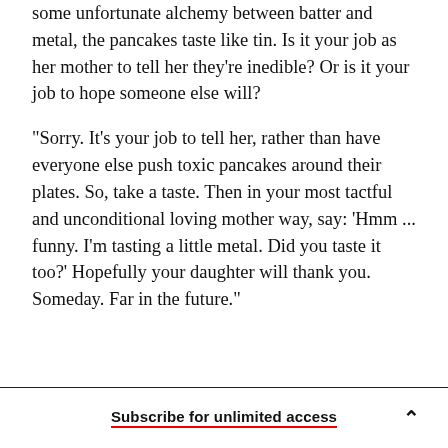some unfortunate alchemy between batter and metal, the pancakes taste like tin. Is it your job as her mother to tell her they're inedible? Or is it your job to hope someone else will?
"Sorry. It's your job to tell her, rather than have everyone else push toxic pancakes around their plates. So, take a taste. Then in your most tactful and unconditional loving mother way, say: 'Hmm ... funny. I'm tasting a little metal. Did you taste it too?' Hopefully your daughter will thank you. Someday. Far in the future."
Subscribe for unlimited access